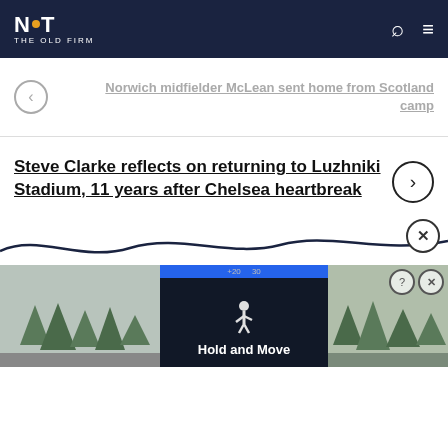NOT THE OLD FIRM
Norwich midfielder McLean sent home from Scotland camp
Steve Clarke reflects on returning to Luzhniki Stadium, 11 years after Chelsea heartbreak
[Figure (screenshot): Advertisement banner showing 'Hold and Move' game with a figure icon and trees in background]